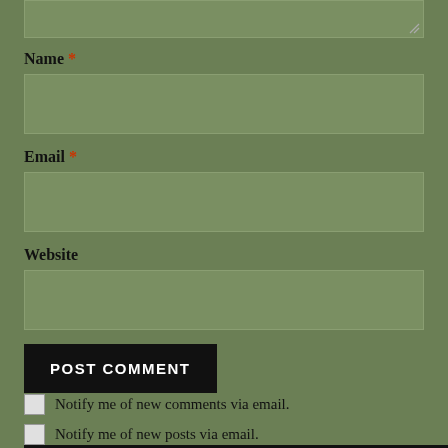[Figure (screenshot): Partial textarea input box at top of page, cut off]
Name *
[Figure (screenshot): Name input field (empty text box)]
Email *
[Figure (screenshot): Email input field (empty text box)]
Website
[Figure (screenshot): Website input field (empty text box)]
POST COMMENT
Notify me of new comments via email.
Notify me of new posts via email.